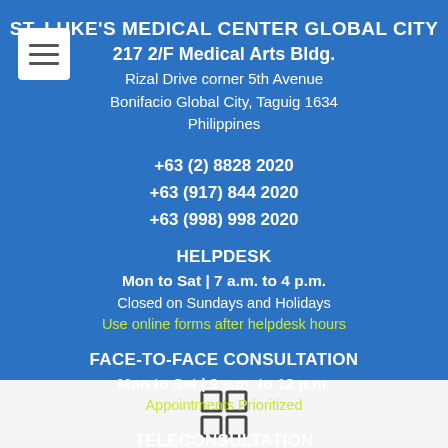ST. LUKE'S MEDICAL CENTER GLOBAL CITY
217 2/F Medical Arts Bldg.
Rizal Drive corner 5th Avenue
Bonifacio Global City, Taguig 1634
Philippines
+63 (2) 8828 2020
+63 (917) 844 2020
+63 (998) 998 2020
HELPDESK
Mon to Sat | 7 a.m. to 4 p.m.
Closed on Sundays and Holidays
Use online forms after helpdesk hours
FACE-TO-FACE CONSULTATION
Mon to Sat | 9 a.m. to 12 p.m.
Appointments Prioritized
TELECONSULTATION
[Figure (other): Four-square grid icon (2x2 squares)]